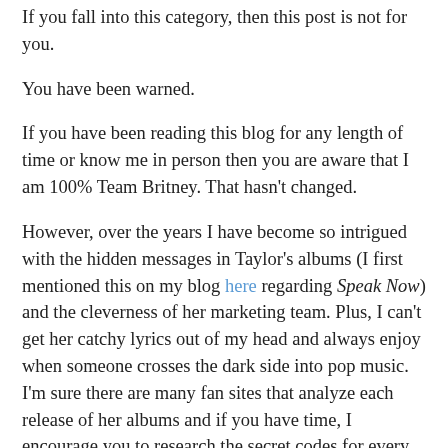If you fall into this category, then this post is not for you.
You have been warned.
If you have been reading this blog for any length of time or know me in person then you are aware that I am 100% Team Britney. That hasn't changed.
However, over the years I have become so intrigued with the hidden messages in Taylor's albums (I first mentioned this on my blog here regarding Speak Now) and the cleverness of her marketing team. Plus, I can't get her catchy lyrics out of my head and always enjoy when someone crosses the dark side into pop music. I'm sure there are many fan sites that analyze each release of her albums and if you have time, I encourage you to research the secret codes for every one.
That being said, I was totally jazzed about her recent blackout on social media and the clues her team began to release in anticipation of her upcoming single. I woke up on Friday morning and downloaded Look What You Made Me Do while I was still in bed. You can read my initial thoughts